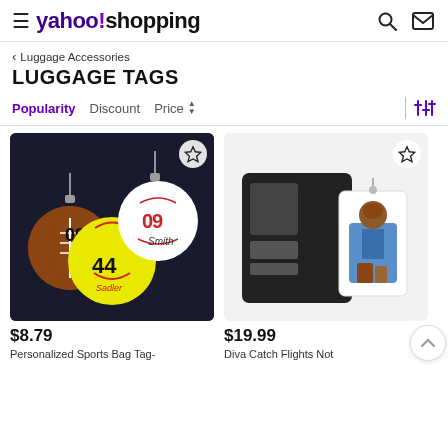yahoo!shopping
< Luggage Accessories
LUGGAGE TAGS
Popularity  Discount  Price
[Figure (photo): Sports ball luggage tags showing softball with 44, baseball with 09 Smith, and football with 09, attached to a dark bag]
$8.79
Personalized Sports Bag Tag-
[Figure (photo): Black wallet-style luggage tag next to a tag showing a woman with luggage in blue outfit]
$19.99
Diva Catch Flights Not